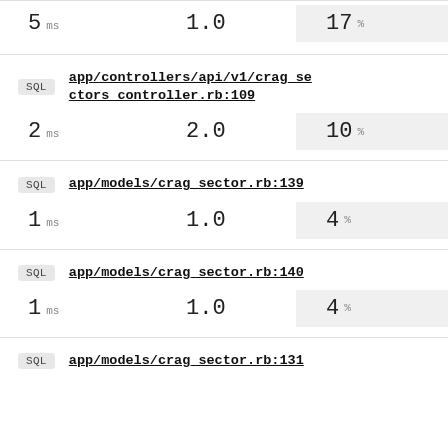| ms | count | pct |
| --- | --- | --- |
| 5 ms | 1.0 | 17 % |
SQL app/controllers/api/v1/crag_sectors_controller.rb:109
| ms | count | pct |
| --- | --- | --- |
| 2 ms | 2.0 | 10 % |
SQL app/models/crag_sector.rb:139
| ms | count | pct |
| --- | --- | --- |
| 1 ms | 1.0 | 4 % |
SQL app/models/crag_sector.rb:140
| ms | count | pct |
| --- | --- | --- |
| 1 ms | 1.0 | 4 % |
SQL app/models/crag_sector.rb:131